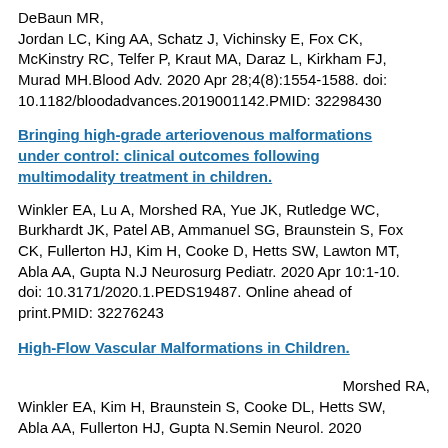DeBaun MR, Jordan LC, King AA, Schatz J, Vichinsky E, Fox CK, McKinstry RC, Telfer P, Kraut MA, Daraz L, Kirkham FJ, Murad MH.Blood Adv. 2020 Apr 28;4(8):1554-1588. doi: 10.1182/bloodadvances.2019001142.PMID: 32298430
Bringing high-grade arteriovenous malformations under control: clinical outcomes following multimodality treatment in children.
Winkler EA, Lu A, Morshed RA, Yue JK, Rutledge WC, Burkhardt JK, Patel AB, Ammanuel SG, Braunstein S, Fox CK, Fullerton HJ, Kim H, Cooke D, Hetts SW, Lawton MT, Abla AA, Gupta N.J Neurosurg Pediatr. 2020 Apr 10:1-10. doi: 10.3171/2020.1.PEDS19487. Online ahead of print.PMID: 32276243
High-Flow Vascular Malformations in Children.
Morshed RA, Winkler EA, Kim H, Braunstein S, Cooke DL, Hetts SW, Abla AA, Fullerton HJ, Gupta N.Semin Neurol. 2020